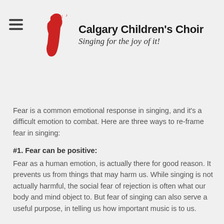[Figure (logo): Calgary Children's Choir logo with red stylized figure and musical notes, tagline: Singing for the joy of it!]
Fear is a common emotional response in singing, and it's a difficult emotion to combat. Here are three ways to re-frame fear in singing:
#1. Fear can be positive:
Fear as a human emotion, is actually there for good reason. It prevents us from things that may harm us. While singing is not actually harmful, the social fear of rejection is often what our body and mind object to. But fear of singing can also serve a useful purpose, in telling us how important music is to us.